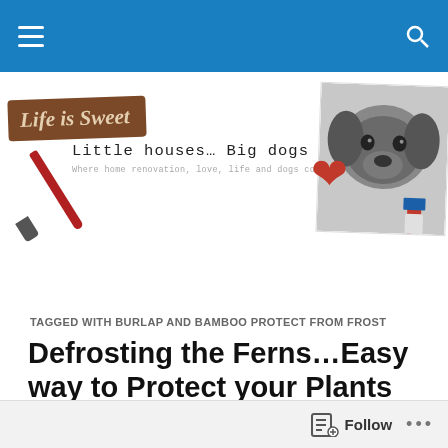Life is Sweet — Little houses… Big dogs — Where home renovation, love, life and dogs collide
[Figure (screenshot): Blog header logo with 'Life is Sweet' wooden sign, 'Little houses… Big dogs' subtitle in typewriter font, tagline 'Where home renovation, love, life and dogs collide', a red heart, and a black-and-white photo of a large dog with a paintbrush]
TAGGED WITH BURLAP AND BAMBOO PROTECT FROM FROST
Defrosting the Ferns…Easy way to Protect your Plants during Winter
Yay! Fall (and in some places Winter) is upon us! Only
Follow